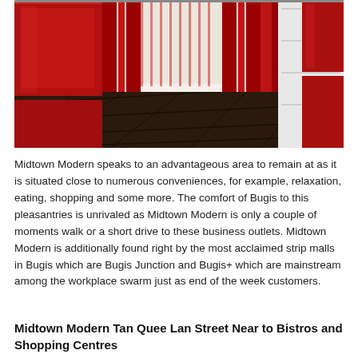[Figure (photo): Interior photo of a modern room with red glossy cabinets/furniture on left and right sides, dark hardwood floor, and red curtains in the background near a window.]
Midtown Modern speaks to an advantageous area to remain at as it is situated close to numerous conveniences, for example, relaxation, eating, shopping and some more. The comfort of Bugis to this pleasantries is unrivaled as Midtown Modern is only a couple of moments walk or a short drive to these business outlets. Midtown Modern is additionally found right by the most acclaimed strip malls in Bugis which are Bugis Junction and Bugis+ which are mainstream among the workplace swarm just as end of the week customers.
Midtown Modern Tan Quee Lan Street Near to Bistros and Shopping Centres